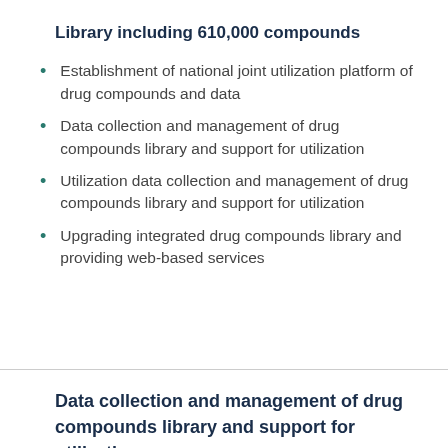Library including 610,000 compounds
Establishment of national joint utilization platform of drug compounds and data
Data collection and management of drug compounds library and support for utilization
Utilization data collection and management of drug compounds library and support for utilization
Upgrading integrated drug compounds library and providing web-based services
Data collection and management of drug compounds library and support for utilization
Securing high-class drug compounds library